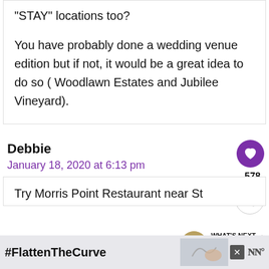“STAY” locations too?

You have probably done a wedding venue edition but if not, it would be a great idea to do so ( Woodlawn Estates and Jubilee Vineyard).
Debbie
January 18, 2020 at 6:13 pm
578
WHAT’S NEXT → Calvert County MD:....
Try Morris Point Restaurant near St
[Figure (other): Advertisement banner with #FlattenTheCurve hashtag and handwashing image]
#FlattenTheCurve